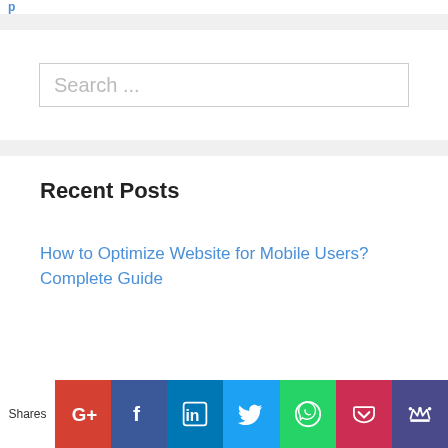p...
Search ...
Recent Posts
How to Optimize Website for Mobile Users? Complete Guide
Shares